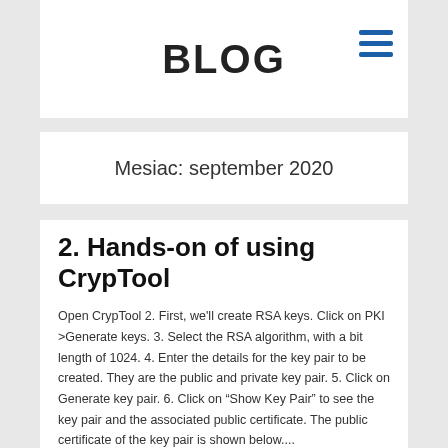BLOG
Mesiac: september 2020
2. Hands-on of using CrypTool
Open CrypTool 2. First, we'll create RSA keys. Click on PKI >Generate keys. 3. Select the RSA algorithm, with a bit length of 1024. 4. Enter the details for the key pair to be created. They are the public and private key pair. 5. Click on Generate key pair. 6. Click on “Show Key Pair” to see the key pair and the associated public certificate. The public certificate of the key pair is shown below....